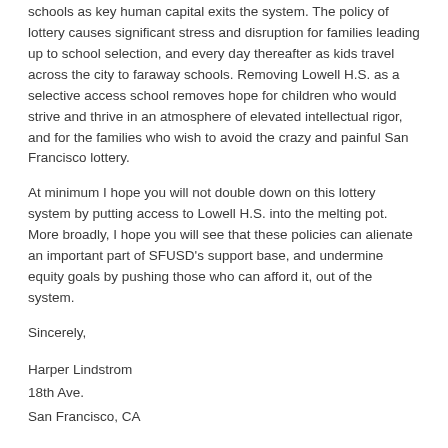schools as key human capital exits the system. The policy of lottery causes significant stress and disruption for families leading up to school selection, and every day thereafter as kids travel across the city to faraway schools. Removing Lowell H.S. as a selective access school removes hope for children who would strive and thrive in an atmosphere of elevated intellectual rigor, and for the families who wish to avoid the crazy and painful San Francisco lottery.
At minimum I hope you will not double down on this lottery system by putting access to Lowell H.S. into the melting pot. More broadly, I hope you will see that these policies can alienate an important part of SFUSD's support base, and undermine equity goals by pushing those who can afford it, out of the system.
Sincerely,
Harper Lindstrom
18th Ave.
San Francisco, CA
cc: Editor@RichmondSunsetNews.com
SHARE THIS: